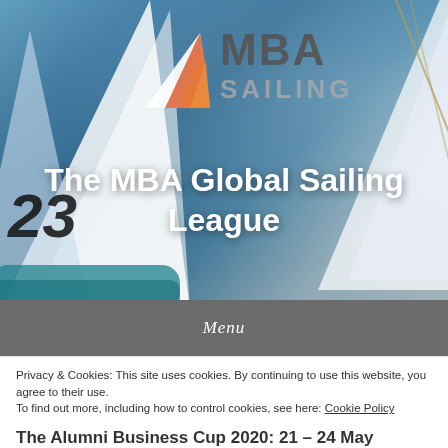[Figure (photo): Hero image of sailboats racing with white sails, teal water, and the MBA Sailing League logo overlaid. A sailboat with number 23 is visible on the left.]
The MBA Global Sailing League
Menu
Privacy & Cookies: This site uses cookies. By continuing to use this website, you agree to their use.
To find out more, including how to control cookies, see here: Cookie Policy
Close and accept
The Alumni Business Cup 2020: 21 – 24 May...